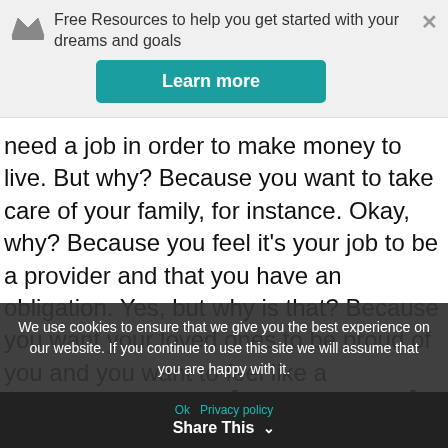Free Resources to help you get started with your dreams and goals
need a job in order to make money to live. But why? Because you want to take care of your family, for instance. Okay, why? Because you feel it's your job to be a provider and that you have an obligation. Yes, but why is that? Because you want your loved ones to be proud of you and you want to feel like a productive citizen. Keep going until you feel you've sufficiently reached your unique and underlying catalyst for wanting to find a job.
Use Your Why to Motivate Mo
We use cookies to ensure that we give you the best experience on our website. If you continue to use this site we will assume that you are happy with it.
Ok  Privacy policy  Share This